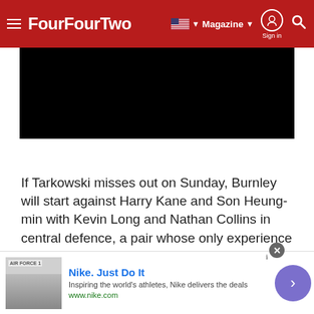FourFourTwo — Magazine | Sign in | Search
[Figure (photo): Black rectangular image area below the header navigation]
If Tarkowski misses out on Sunday, Burnley will start against Harry Kane and Son Heung-min with Kevin Long and Nathan Collins in central defence, a pair whose only experience playing together was the 43 minutes after Tarkowski's exit last Saturday.
[Figure (infographic): Nike advertisement banner: 'Nike. Just Do It' — Inspiring the world's athletes, Nike delivers the deals. www.nike.com]